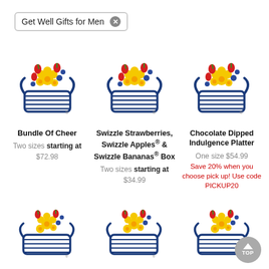Get Well Gifts for Men ×
[Figure (illustration): Edible Arrangements basket logo with flowers - Bundle Of Cheer product]
Bundle Of Cheer
Two sizes starting at
$72.98
[Figure (illustration): Edible Arrangements basket logo with flowers - Swizzle Strawberries product]
Swizzle Strawberries, Swizzle Apples® & Swizzle Bananas® Box
Two sizes starting at
$34.99
[Figure (illustration): Edible Arrangements basket logo with flowers - Chocolate Dipped Indulgence Platter product]
Chocolate Dipped Indulgence Platter
One size $54.99
Save 20% when you choose pick up! Use code PICKUP20
[Figure (illustration): Edible Arrangements basket logo - bottom row left product]
[Figure (illustration): Edible Arrangements basket logo - bottom row center product]
[Figure (illustration): Edible Arrangements basket logo - bottom row right product with TOP button overlay]